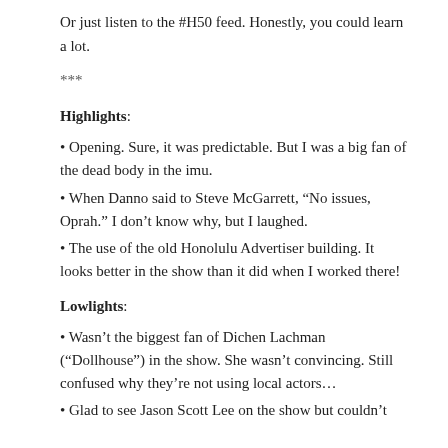Or just listen to the #H50 feed. Honestly, you could learn a lot.
***
Highlights:
• Opening. Sure, it was predictable. But I was a big fan of the dead body in the imu.
• When Danno said to Steve McGarrett, “No issues, Oprah.” I don’t know why, but I laughed.
• The use of the old Honolulu Advertiser building. It looks better in the show than it did when I worked there!
Lowlights:
• Wasn’t the biggest fan of Dichen Lachman (“Dollhouse”) in the show. She wasn’t convincing. Still confused why they’re not using local actors…
• Glad to see Jason Scott Lee on the show but couldn’t